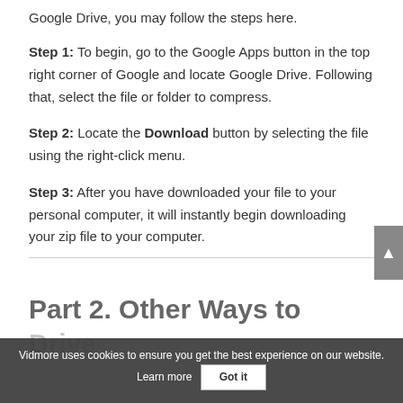Google Drive, you may follow the steps here.
Step 1: To begin, go to the Google Apps button in the top right corner of Google and locate Google Drive. Following that, select the file or folder to compress.
Step 2: Locate the Download button by selecting the file using the right-click menu.
Step 3: After you have downloaded your file to your personal computer, it will instantly begin downloading your zip file to your computer.
Part 2. Other Ways to
Vidmore uses cookies to ensure you get the best experience on our website. Learn more  Got it